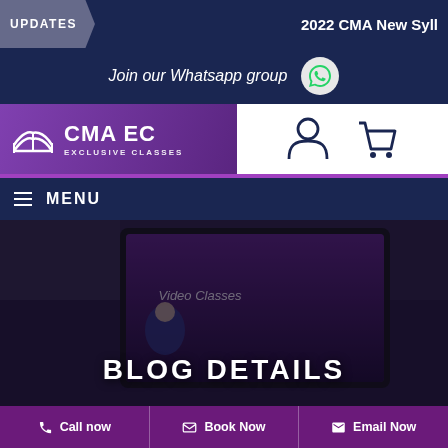UPDATES | 2022 CMA New Syll
Join our Whatsapp group
[Figure (logo): CMA EC Exclusive Classes logo with open book icon on purple background]
[Figure (illustration): User/account icon (person silhouette) and shopping cart icon]
MENU
[Figure (photo): Laptop/tablet showing Video Classes website with instructor photo, dark overlay, displaying BLOG DETAILS page hero]
BLOG DETAILS
Call now | Book Now | Email Now